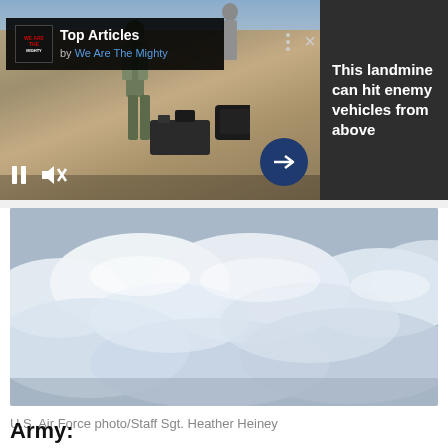[Figure (screenshot): Top banner with video player showing soldier in desert/outdoor setting with military equipment, with 'Top Articles by We Are The Mighty' overlay, pause and mute controls, arrow navigation button, three-dot menu and X close button, and right panel with text 'This landmine can hit enemy vehicles from above']
[Figure (photo): Aerial photograph showing clouds from above, blue-gray sky and white clouds viewed from an aircraft]
U.S. Air Force photo/Staff Sgt. Heather Heiney
Army: